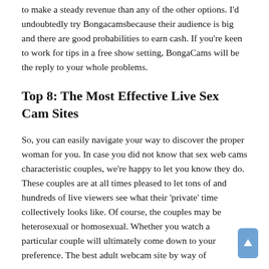to make a steady revenue than any of the other options. I'd undoubtedly try Bongacamsbecause their audience is big and there are good probabilities to earn cash. If you're keen to work for tips in a free show setting, BongaCams will be the reply to your whole problems.
Top 8: The Most Effective Live Sex Cam Sites
So, you can easily navigate your way to discover the proper woman for you. In case you did not know that sex web cams characteristic couples, we're happy to let you know they do. These couples are at all times pleased to let tons of and hundreds of live viewers see what their 'private' time collectively looks like. Of course, the couples may be heterosexual or homosexual. Whether you watch a particular couple will ultimately come down to your preference. The best adult webcam site by way of high quality is absolutely Live Jasmin and Streamate. The